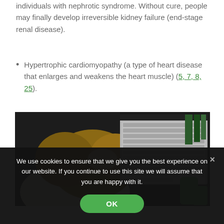individuals with nephrotic syndrome. Without cure, people may finally develop irreversible kidney failure (end-stage renal disease).
Hypertrophic cardiomyopathy (a type of heart disease that enlarges and weakens the heart muscle) (5,7,8,25).
[Figure (photo): Person with head down on desk, hands on head, next to an open laptop with keyboard visible. Green objects (bottle/glasses) visible at bottom right. Dark desk surface.]
We use cookies to ensure that we give you the best experience on our website. If you continue to use this site we will assume that you are happy with it.